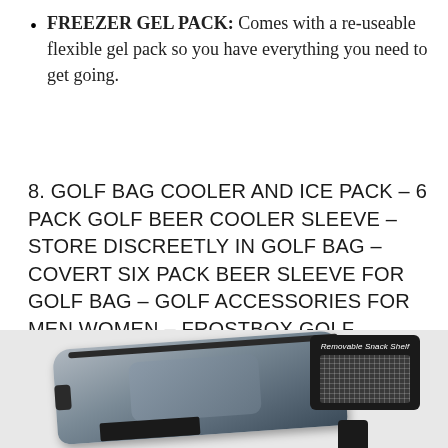FREEZER GEL PACK: Comes with a re-useable flexible gel pack so you have everything you need to get going.
8. GOLF BAG COOLER AND ICE PACK – 6 PACK GOLF BEER COOLER SLEEVE – STORE DISCREETLY IN GOLF BAG – COVERT SIX PACK BEER SLEEVE FOR GOLF BAG – GOLF ACCESSORIES FOR MEN WOMEN – FROSTBOX GOLF COOLER BAG
[Figure (photo): Product photo showing a gray golf bag cooler sleeve with zipper and a black mesh removable snack shelf pouch with white text label 'Removable Snack Shelf']